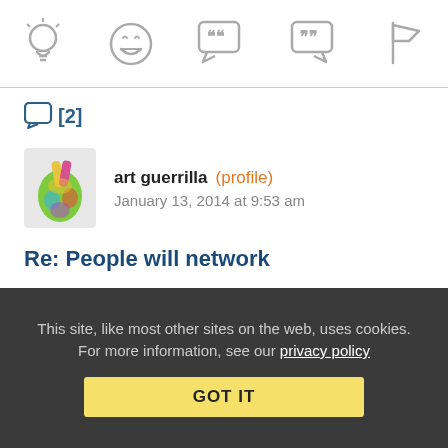[Figure (infographic): Toolbar with five icons: lightbulb, laughing emoji, speech bubble with quotes, speech bubble with end-quote, and flag]
[2]
[Figure (photo): Avatar image of a colorful peace-sign hand gesture]
art guerrilla (profile)   January 13, 2014 at 9:53 am
Re: People will network
i will see your skepticism, and raise you my cynicism:
1. the field of play is changing beneath our feet, the persecution (no typo) of the aaron's (browning, manning, snowden, ALL of them) of the world is no anomaly, no rogue DA, etc; that IS the
This site, like most other sites on the web, uses cookies. For more information, see our privacy policy
GOT IT